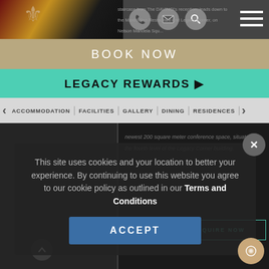[Figure (screenshot): Hotel website header with dark background showing motion-blurred city/road image on left and navigation icons (phone, email, search, hamburger menu) on right]
staircase from The DAVINCI's reception, leads down to the Maximillien Restaurant and Legacy Corner, on Nelson Mandela Squ...
BOOK NOW
LEGACY REWARDS ▶
ACCOMMODATION | FACILITIES | GALLERY | DINING | RESIDENCES |
newest 200 square meter conference space, situate on the fourth level of the Legacy Corner building.
This site uses cookies and your location to better your experience. By continuing to use this website you agree to our cookie policy as outlined in our Terms and Conditions
ENQUIRE NOW
ACCEPT